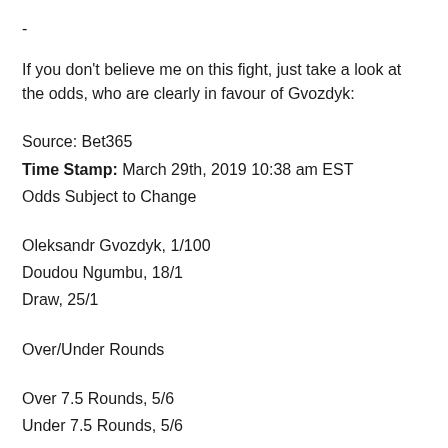-
If you don't believe me on this fight, just take a look at the odds, who are clearly in favour of Gvozdyk:
Source: Bet365
Time Stamp: March 29th, 2019 10:38 am EST
Odds Subject to Change
Oleksandr Gvozdyk, 1/100
Doudou Ngumbu, 18/1
Draw, 25/1
Over/Under Rounds
Over 7.5 Rounds, 5/6
Under 7.5 Rounds, 5/6
Will the Fight Go The Distance?